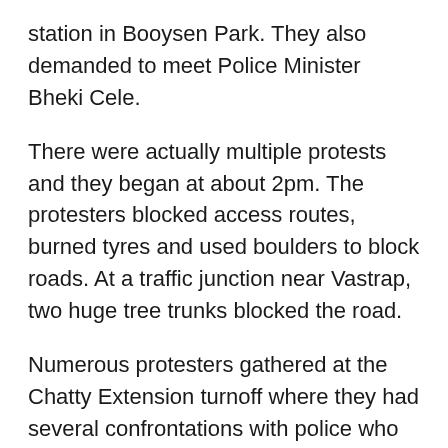station in Booysen Park. They also demanded to meet Police Minister Bheki Cele.
There were actually multiple protests and they began at about 2pm. The protesters blocked access routes, burned tyres and used boulders to block roads. At a traffic junction near Vastrap, two huge tree trunks blocked the road.
Numerous protesters gathered at the Chatty Extension turnoff where they had several confrontations with police who fired teargas canisters to disperse them. Mostly youths had sporadic running battles with the police while mostly older people gathered for a meeting at the junction.
At a community meeting on Tuesday where the call to protest was made, learners were told not to attend school and immigrant-owned shops were warned not to open to prevent looting.